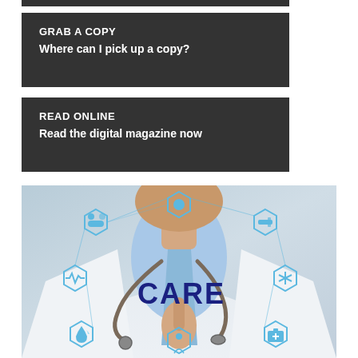GRAB A COPY
Where can I pick up a copy?
READ ONLINE
Read the digital magazine now
[Figure (photo): Doctor in white coat with stethoscope pointing finger at digital medical icon network showing hexagonal healthcare icons (pills, heart monitor, water drop, medical kit, syringe, etc.) with the word CARE in bold dark blue text in the center]